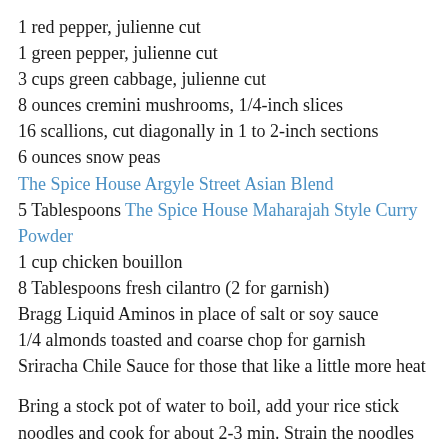1 red pepper, julienne cut
1 green pepper, julienne cut
3 cups green cabbage, julienne cut
8 ounces cremini mushrooms, 1/4-inch slices
16 scallions, cut diagonally in 1 to 2-inch sections
6 ounces snow peas
The Spice House Argyle Street Asian Blend
5 Tablespoons The Spice House Maharajah Style Curry Powder
1 cup chicken bouillon
8 Tablespoons fresh cilantro (2 for garnish)
Bragg Liquid Aminos in place of salt or soy sauce
1/4 almonds toasted and coarse chop for garnish
Sriracha Chile Sauce for those that like a little more heat
Bring a stock pot of water to boil, add your rice stick noodles and cook for about 2-3 min. Strain the noodles and rinse well with cold water. DO NOT skip a cold water rinse! Remove excess water, spread out on a baking sheet